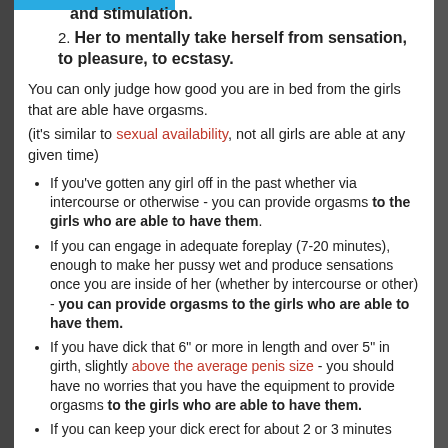and stimulation.
Her to mentally take herself from sensation, to pleasure, to ecstasy.
You can only judge how good you are in bed from the girls that are able have orgasms.
(it's similar to sexual availability, not all girls are able at any given time)
If you've gotten any girl off in the past whether via intercourse or otherwise - you can provide orgasms to the girls who are able to have them.
If you can engage in adequate foreplay (7-20 minutes), enough to make her pussy wet and produce sensations once you are inside of her (whether by intercourse or other) - you can provide orgasms to the girls who are able to have them.
If you have dick that 6" or more in length and over 5" in girth, slightly above the average penis size - you should have no worries that you have the equipment to provide orgasms to the girls who are able to have them.
If you can keep your dick erect for about 2 or 3 minutes